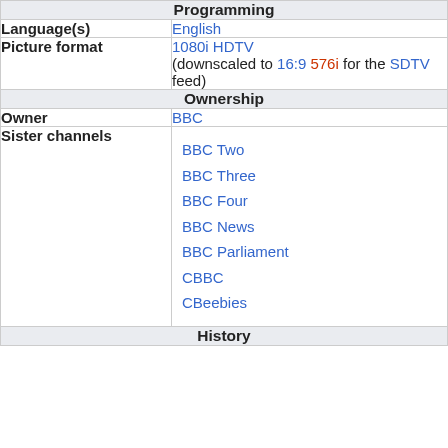| Programming |  |
| Language(s) | English |
| Picture format | 1080i HDTV (downscaled to 16:9 576i for the SDTV feed) |
| Ownership |  |
| Owner | BBC |
| Sister channels | BBC Two
BBC Three
BBC Four
BBC News
BBC Parliament
CBBC
CBeebies |
| History |  |